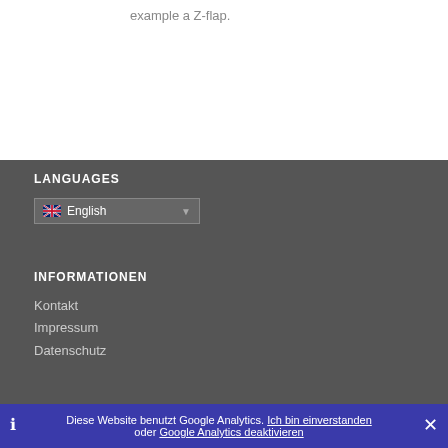example a Z-flap.
LANGUAGES
[Figure (other): Language selector dropdown showing UK flag and 'English' with dropdown arrow]
INFORMATIONEN
Kontakt
Impressum
Datenschutz
Diese Website benutzt Google Analytics. Ich bin einverstanden oder Google Analytics deaktivieren